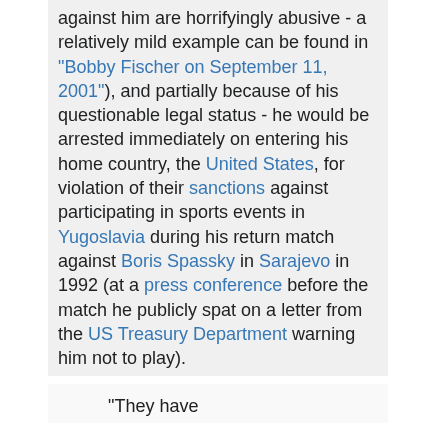against him are horrifyingly abusive - a relatively mild example can be found in "Bobby Fischer on September 11, 2001"), and partially because of his questionable legal status - he would be arrested immediately on entering his home country, the United States, for violation of their sanctions against participating in sports events in Yugoslavia during his return match against Boris Spassky in Sarajevo in 1992 (at a press conference before the match he publicly spat on a letter from the US Treasury Department warning him not to play).
"They have